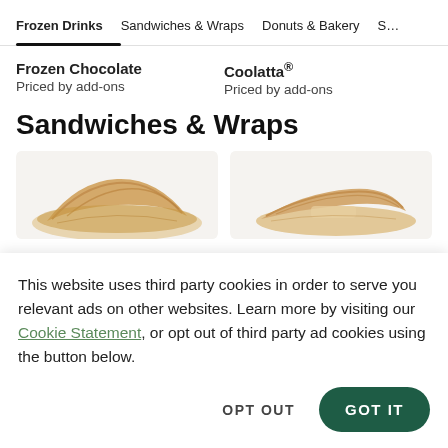Frozen Drinks | Sandwiches & Wraps | Donuts & Bakery | S...
Frozen Chocolate
Priced by add-ons
Coolatta®
Priced by add-ons
Sandwiches & Wraps
[Figure (photo): Two food product images showing sandwiches/wraps on light backgrounds]
This website uses third party cookies in order to serve you relevant ads on other websites. Learn more by visiting our Cookie Statement, or opt out of third party ad cookies using the button below.